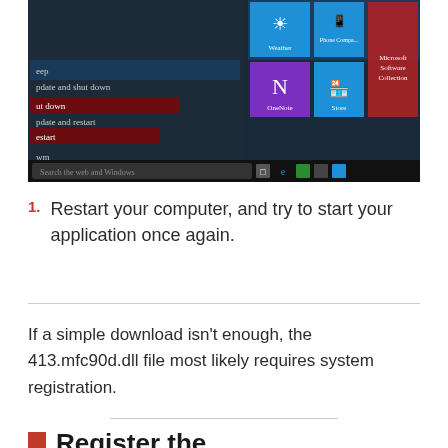[Figure (screenshot): Windows 10 Start menu screenshot showing power options including 'Update and shut down', 'Shut down', 'Update and restart', 'Restart', and taskbar at bottom. Right side shows app tiles including Weather, Phone Companion, OneNote, Store.]
1. Restart your computer, and try to start your application once again.
If a simple download isn't enough, the 413.mfc90d.dll file most likely requires system registration.
Register the